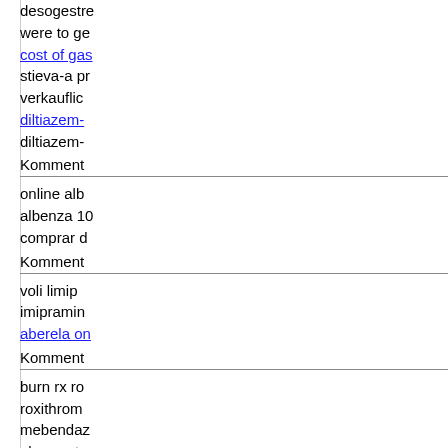desogestre... were to ge... cost of gas... stieva-a pr... verkauflic... diltiazem-... diltiazem-...
Komment
online alb... albenza 10... comprar d...
Komment
voli limip... imipramin... aberela on...
Komment
burn rx ro... roxithrom... mebendaz... pharma te... 2013 metr...